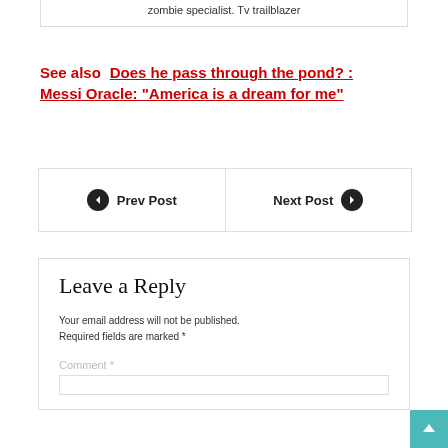zombie specialist. Tv trailblazer
See also  Does he pass through the pond? : Messi Oracle: "America is a dream for me"
Prev Post
Next Post
Leave a Reply
Your email address will not be published. Required fields are marked *
Comment *